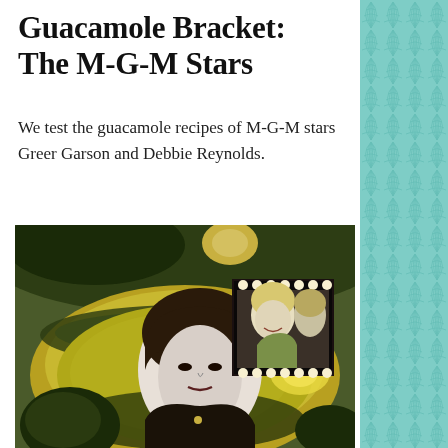Guacamole Bracket: The M-G-M Stars
We test the guacamole recipes of M-G-M stars Greer Garson and Debbie Reynolds.
[Figure (photo): Collage photo showing a bowl of guacamole with avocados, a black-and-white portrait of a woman (Greer Garson) in the foreground, and a smaller inset color photo of a smiling woman (Debbie Reynolds) at a mirror with vanity lights.]